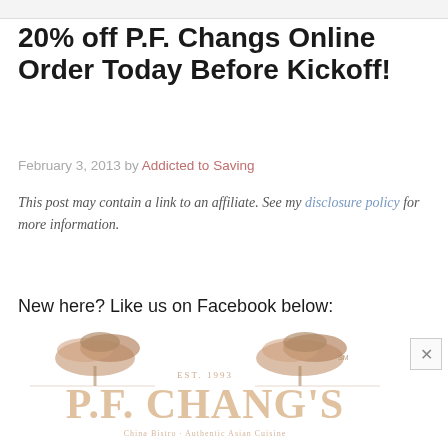20% off P.F. Changs Online Order Today Before Kickoff!
February 3, 2013 by Addicted to Saving
This post may contain a link to an affiliate. See my disclosure policy for more information.
New here? Like us on Facebook below:
[Figure (logo): P.F. Chang's restaurant logo in light brown/tan color]